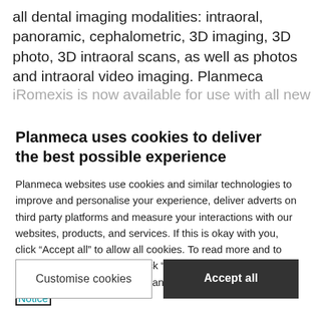all dental imaging modalities: intraoral, panoramic, cephalometric, 3D imaging, 3D photo, 3D intraoral scans, as well as photos and intraoral video imaging. Planmeca iRomexis is now available for use with all new and existing...
Planmeca uses cookies to deliver the best possible experience
Planmeca websites use cookies and similar technologies to improve and personalise your experience, deliver adverts on third party platforms and measure your interactions with our websites, products, and services. If this is okay with you, click “Accept all” to allow all cookies. To read more and to change your preferences, click “Customise cookies”. You can change these settings at any time. Privacy Notice
Customise cookies
Accept all